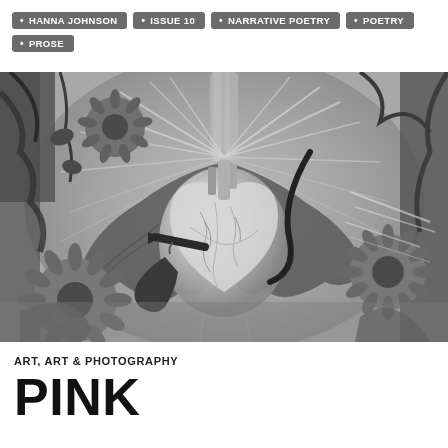• HANNA JOHNSON  • ISSUE 10  • NARRATIVE POETRY  • POETRY  • PROSE
[Figure (illustration): Black and white surrealist collage illustration featuring an anatomical human heart at the center surrounded by radiating light rays, sunflowers, dark leaves, and organic forms on a grey background.]
ART, ART & PHOTOGRAPHY
PINK